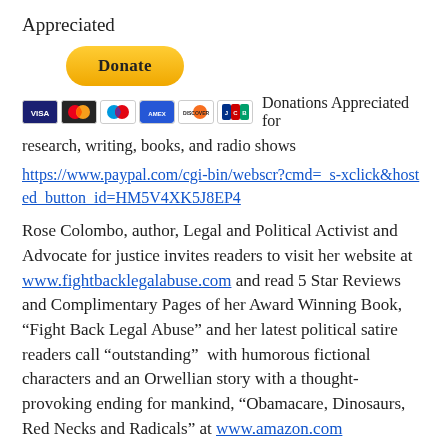Appreciated
[Figure (other): PayPal Donate button (yellow/gold rounded rectangle with bold text 'Donate')]
Donations Appreciated for research, writing, books, and radio shows
https://www.paypal.com/cgi-bin/webscr?cmd=_s-xclick&hosted_button_id=HM5V4XK5J8EP4
Rose Colombo, author, Legal and Political Activist and Advocate for justice invites readers to visit her website at www.fightbacklegalabuse.com and read 5 Star Reviews and Complimentary Pages of her Award Winning Book, “Fight Back Legal Abuse” and her latest political satire readers call “outstanding”  with humorous fictional characters and an Orwellian story with a thought-provoking ending for mankind, “Obamacare, Dinosaurs, Red Necks and Radicals” at www.amazon.com